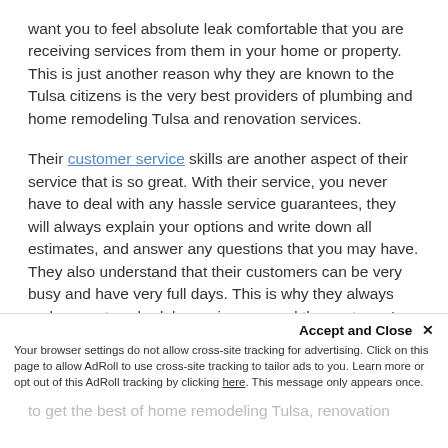want you to feel absolute leak comfortable that you are receiving services from them in your home or property. This is just another reason why they are known to the Tulsa citizens is the very best providers of plumbing and home remodeling Tulsa and renovation services.
Their customer service skills are another aspect of their service that is so great. With their service, you never have to deal with any hassle service guarantees, they will always explain your options and write down all estimates, and answer any questions that you may have. They also understand that their customers can be very busy and have very full days. This is why they always make sure to schedule services around the customer's convenience. Whether it's an emergency, routine plumbing maintenance, or full home renovation, you will definitely be in the right hands with the great professionals provided by Our Pl...
Accept and Close ✕
Your browser settings do not allow cross-site tracking for advertising. Click on this page to allow AdRoll to use cross-site tracking to tailor ads to you. Learn more or opt out of this AdRoll tracking by clicking here. This message only appears once.
to get the best of home remodeling Tulsa, renovation